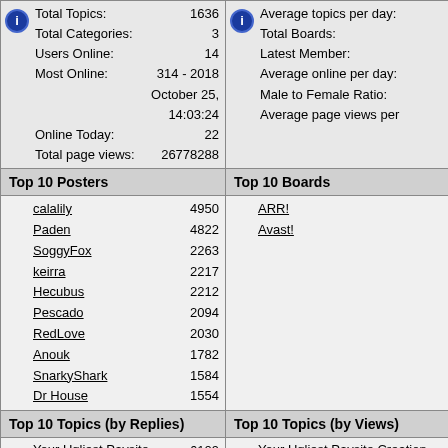| Top 10 Posters | Top 10 Boards |
| --- | --- |
| calalily 4950 | ARR! |
| Paden 4822 | Avast! |
| SoggyFox 2263 |  |
| keirra 2217 |  |
| Hecubus 2212 |  |
| Pescado 2094 |  |
| RedLove 2030 |  |
| Anouk 1782 |  |
| SnarkyShark 1584 |  |
| Dr House 1554 |  |
| Top 10 Topics (by Replies) | Top 10 Topics (by Views) |
| --- | --- |
| Your Ugliest Paysite Creation 6109 | Your Ugliest Paysite Creation |
| Find: Round Two. | Find: Round Two. |
| TSR Sharing 4127 | TSR Sharing your information! |